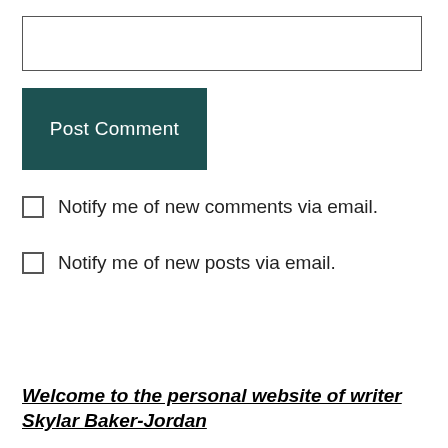[Figure (other): Text input box (empty form field)]
Post Comment
Notify me of new comments via email.
Notify me of new posts via email.
Welcome to the personal website of writer Skylar Baker-Jordan